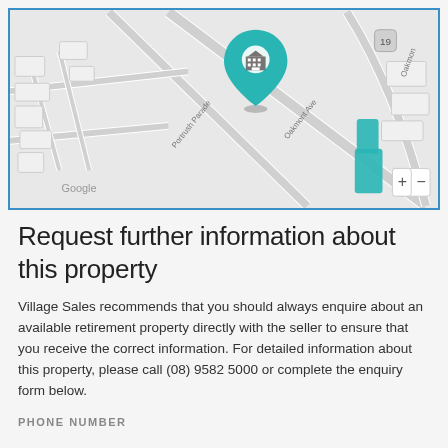[Figure (map): Google Maps screenshot showing location pin with building icon on Oakmont Ave / Portrush Parade area, with teal colored building highlights and zoom controls]
Request further information about this property
Village Sales recommends that you should always enquire about an available retirement property directly with the seller to ensure that you receive the correct information. For detailed information about this property, please call (08) 9582 5000 or complete the enquiry form below.
PHONE NUMBER